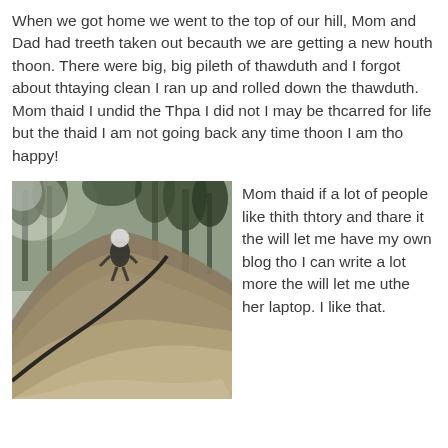When we got home we went to the top of our hill, Mom and Dad had treeth taken out becauth we are getting a new houth thoon.  There were big, big pileth of thawduth and I forgot about thtaying clean I ran up and rolled down the thawduth.  Mom thaid I undid the Thpa I did not I may be thcarred for life but the thaid I am not going back any time thoon I am tho happy!
[Figure (photo): A child or person standing at the top of a large dirt/sawdust mound hill surrounded by trees in a wooded area. A dark hose or pipe runs along the ground up the hill.]
Mom thaid if a lot of people like thith thtory and thare it the will let me have my own blog tho I can write a lot more the will let me uthe her laptop.  I like that.